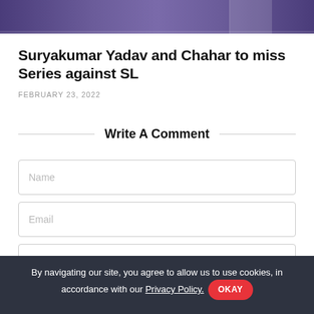[Figure (photo): Partial photo of a cricket player wearing a purple jersey, visible from chest up]
Suryakumar Yadav and Chahar to miss Series against SL
FEBRUARY 23, 2022
Write A Comment
Name
Email
By navigating our site, you agree to allow us to use cookies, in accordance with our Privacy Policy. OKAY